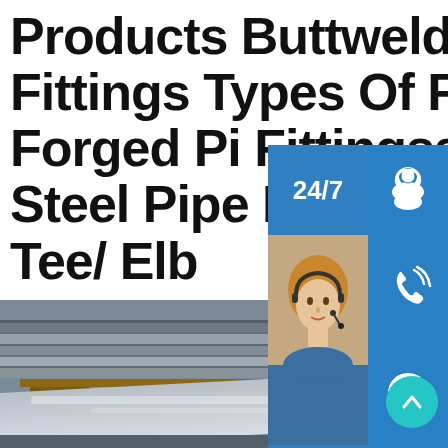Products Buttweld Pipe Fittings Types Of Flanges Forged Pipe Fittingssp.info Carbon Steel Pipe Fittings Buttweld Tee/ Elbow
[Figure (photo): Photo of stacked metal/steel sheets in an industrial warehouse setting]
[Figure (infographic): 24/7 online support widget with customer service icons including headset, phone, Skype logo, person photo, PROVIDE Empowering Customers text, and online live button]